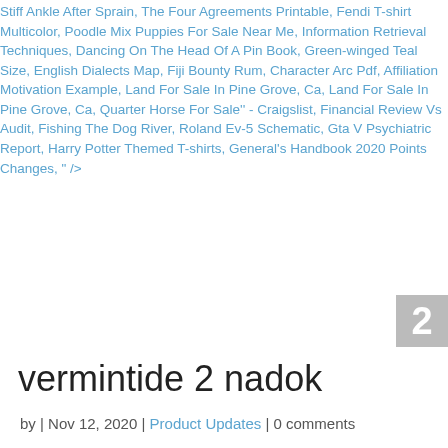Stiff Ankle After Sprain, The Four Agreements Printable, Fendi T-shirt Multicolor, Poodle Mix Puppies For Sale Near Me, Information Retrieval Techniques, Dancing On The Head Of A Pin Book, Green-winged Teal Size, English Dialects Map, Fiji Bounty Rum, Character Arc Pdf, Affiliation Motivation Example, Land For Sale In Pine Grove, Ca, Land For Sale In Pine Grove, Ca, Quarter Horse For Sale'' - Craigslist, Financial Review Vs Audit, Fishing The Dog River, Roland Ev-5 Schematic, Gta V Psychiatric Report, Harry Potter Themed T-shirts, General's Handbook 2020 Points Changes, " />
2
vermintide 2 nadok
by | Nov 12, 2020 | Product Updates | 0 comments